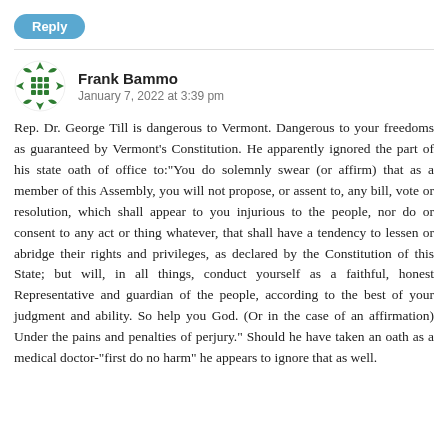Reply
Frank Bammo
January 7, 2022 at 3:39 pm
Rep. Dr. George Till is dangerous to Vermont. Dangerous to your freedoms as guaranteed by Vermont’s Constitution. He apparently ignored the part of his state oath of office to:“You do solemnly swear (or affirm) that as a member of this Assembly, you will not propose, or assent to, any bill, vote or resolution, which shall appear to you injurious to the people, nor do or consent to any act or thing whatever, that shall have a tendency to lessen or abridge their rights and privileges, as declared by the Constitution of this State; but will, in all things, conduct yourself as a faithful, honest Representative and guardian of the people, according to the best of your judgment and ability. So help you God. (Or in the case of an affirmation) Under the pains and penalties of perjury.” Should he have taken an oath as a medical doctor-“first do no harm” he appears to ignore that as well.